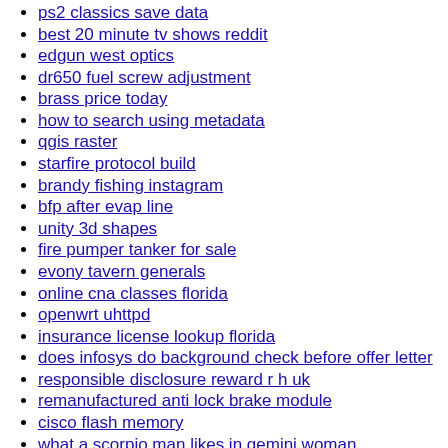ps2 classics save data
best 20 minute tv shows reddit
edgun west optics
dr650 fuel screw adjustment
brass price today
how to search using metadata
qgis raster
starfire protocol build
brandy fishing instagram
bfp after evap line
unity 3d shapes
fire pumper tanker for sale
evony tavern generals
online cna classes florida
openwrt uhttpd
insurance license lookup florida
does infosys do background check before offer letter
responsible disclosure reward r h uk
remanufactured anti lock brake module
cisco flash memory
what a scorpio man likes in gemini woman
boeing incentive bonus 2022
maghilom in english
portland police breaking news
delta 8 pens